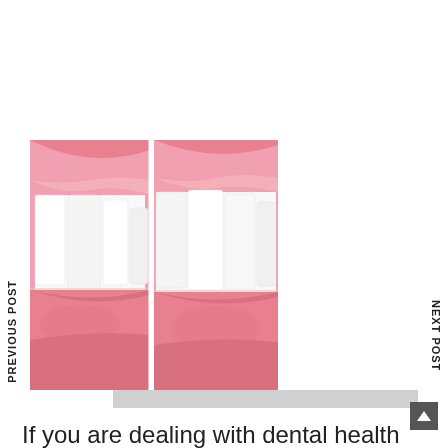[Figure (photo): Close-up photo of a woman's mouth showing white teeth and pink lips, split into two side-by-side panels representing before/after teeth whitening]
PREVIOUS POST
NEXT POST
If you are dealing with dental health issues like discolored or stained teeth, then it is highly recommended for you to look for an effective dental procedure for teeth whitening in Dubai. The good news for you in this regard is that there are a number